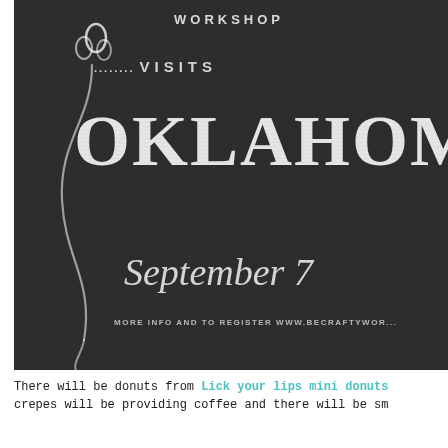[Figure (illustration): Chalkboard-style event poster on dark background. Shows hand-lettered text reading 'WORKSHOP', '........ VISITS', 'OKLAHOM' (cut off at right), 'September 7' (partially visible), and 'MORE INFO AND TO REGISTER WWW.BECRAFTYWOR...' at bottom. Decorative floral/curl illustration on the left side in white chalk style.]
There will be donuts from Lick your lips mini donuts crepes will be providing coffee and there will be sm...